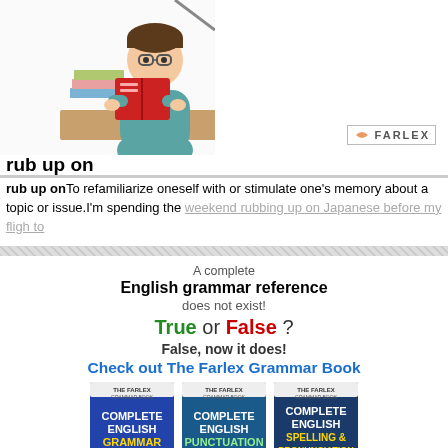[Figure (illustration): Cartoon boy with glasses reading a red book at a desk, with stacks of books beside him. Farlex logo visible in upper right of illustration area.]
rub up on
rub up onTo refamiliarize oneself with or stimulate one's memory about a topic or issue.I'm spending the weekend rubbing up on Japanese before my flight to...
A complete
English grammar reference
does not exist!
True or False?
False, now it does!
Check out The Farlex Grammar Book
[Figure (photo): Three book covers: Complete English Grammar Rules, Complete English Punctuation Rules, Complete English Spelling & Pronunciation Rules]
Advertisement. Bad banner? Please let us know